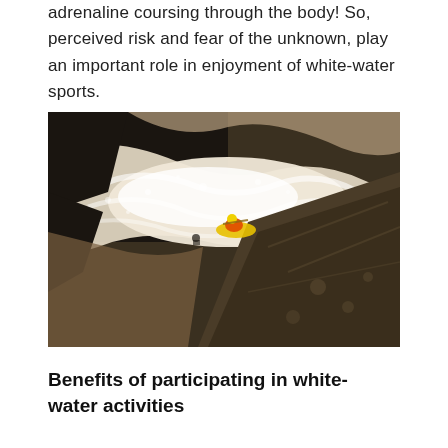adrenaline coursing through the body! So, perceived risk and fear of the unknown, play an important role in enjoyment of white-water sports.
[Figure (photo): Aerial view of white-water rafting, showing a person in a yellow helmet and orange life jacket navigating turbulent brown rapids between dark rocky outcroppings. The churning white foam contrasts with the dark wet rocks.]
Benefits of participating in white-water activities